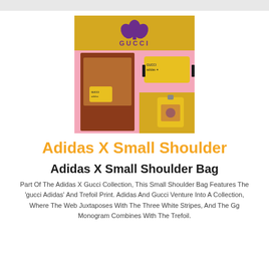[Figure (photo): Product photo showing Adidas X Gucci collaboration shoulder bag. Yellow/gold background with Gucci and Adidas trefoil logo. A person wearing a patterned shirt with an Adidas x Gucci small shoulder bag on the left. On the right, two product shots of the yellow shoulder bag with Gucci/Adidas branding. Pink and yellow background panels.]
Adidas X Small Shoulder
Adidas X Small Shoulder Bag
Part Of The Adidas X Gucci Collection, This Small Shoulder Bag Features The 'gucci Adidas' And Trefoil Print. Adidas And Gucci Venture Into A Collection, Where The Web Juxtaposes With The Three White Stripes, And The Gg Monogram Combines With The Trefoil.